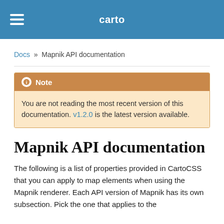carto
Docs » Mapnik API documentation
Note
You are not reading the most recent version of this documentation. v1.2.0 is the latest version available.
Mapnik API documentation
The following is a list of properties provided in CartoCSS that you can apply to map elements when using the Mapnik renderer. Each API version of Mapnik has its own subsection. Pick the one that applies to the